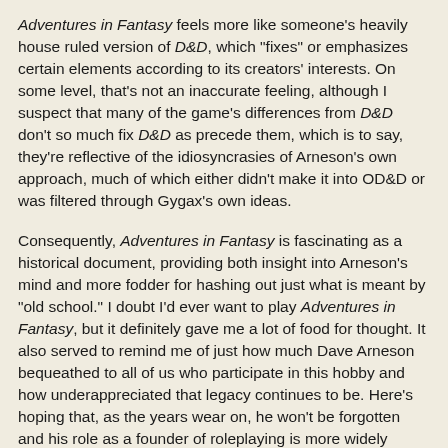Adventures in Fantasy feels more like someone's heavily house ruled version of D&D, which "fixes" or emphasizes certain elements according to its creators' interests. On some level, that's not an inaccurate feeling, although I suspect that many of the game's differences from D&D don't so much fix D&D as precede them, which is to say, they're reflective of the idiosyncrasies of Arneson's own approach, much of which either didn't make it into OD&D or was filtered through Gygax's own ideas.
Consequently, Adventures in Fantasy is fascinating as a historical document, providing both insight into Arneson's mind and more fodder for hashing out just what is meant by "old school." I doubt I'd ever want to play Adventures in Fantasy, but it definitely gave me a lot of food for thought. It also served to remind me of just how much Dave Arneson bequeathed to all of us who participate in this hobby and how underappreciated that legacy continues to be. Here's hoping that, as the years wear on, he won't be forgotten and his role as a founder of roleplaying is more widely recognized.